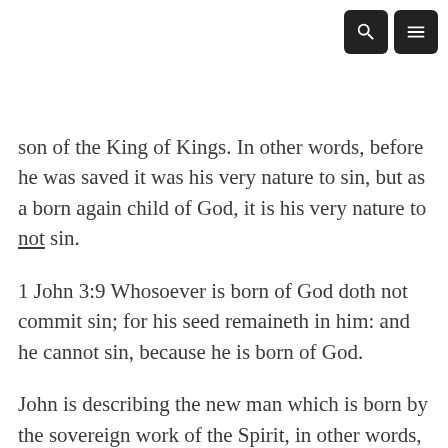[navigation icons: search and menu]
son of the King of Kings. In other words, before he was saved it was his very nature to sin, but as a born again child of God, it is his very nature to not sin.
1 John 3:9 Whosoever is born of God doth not commit sin; for his seed remaineth in him: and he cannot sin, because he is born of God.
John is describing the new man which is born by the sovereign work of the Spirit, in other words, the new nature of the true believer who has been born into Christ by faith (Titus 3:5-7; 1 Cor 12:13). As such, he is also expressing the new expectation for the believer's life: he is to be holy, without sin, because God, his heavenly Father, is holy (1 Peter